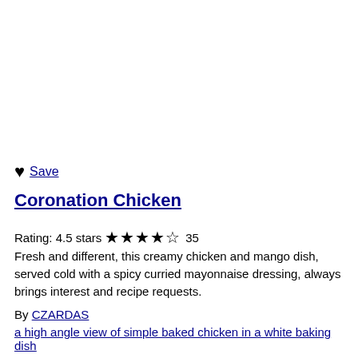♥  Save
Coronation Chicken
Rating: 4.5 stars ★★★★☆ 35
Fresh and different, this creamy chicken and mango dish, served cold with a spicy curried mayonnaise dressing, always brings interest and recipe requests.
By CZARDAS
a high angle view of simple baked chicken in a white baking dish